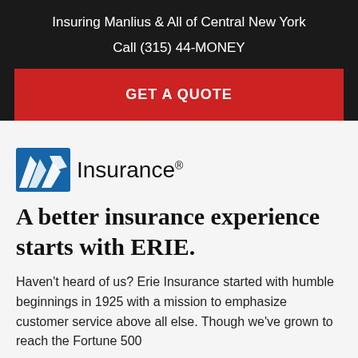Insuring Manlius & All of Central New York
Call (315) 44-MONEY
GET A QUOTE
[Figure (logo): Erie Insurance logo: blue stylized figure/arrow icon followed by the word 'Insurance' with a registered trademark symbol]
A better insurance experience starts with ERIE.
Haven't heard of us? Erie Insurance started with humble beginnings in 1925 with a mission to emphasize customer service above all else. Though we've grown to reach the Fortune 500